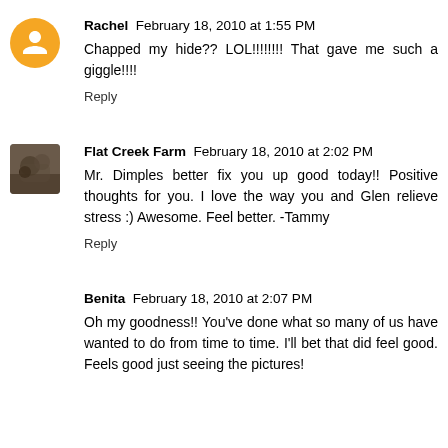Rachel  February 18, 2010 at 1:55 PM
Chapped my hide?? LOL!!!!!!!! That gave me such a giggle!!!!
Reply
Flat Creek Farm  February 18, 2010 at 2:02 PM
Mr. Dimples better fix you up good today!! Positive thoughts for you. I love the way you and Glen relieve stress :) Awesome. Feel better. -Tammy
Reply
Benita  February 18, 2010 at 2:07 PM
Oh my goodness!! You've done what so many of us have wanted to do from time to time. I'll bet that did feel good. Feels good just seeing the pictures!